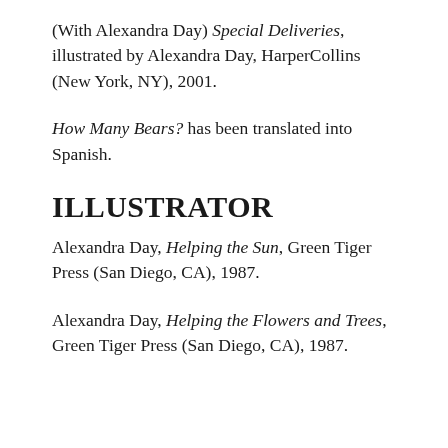(With Alexandra Day) Special Deliveries, illustrated by Alexandra Day, HarperCollins (New York, NY), 2001.
How Many Bears? has been translated into Spanish.
ILLUSTRATOR
Alexandra Day, Helping the Sun, Green Tiger Press (San Diego, CA), 1987.
Alexandra Day, Helping the Flowers and Trees, Green Tiger Press (San Diego, CA), 1987.